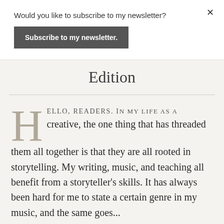Would you like to subscribe to my newsletter?
Subscribe to my newsletter.
×
Edition
HELLO, READERS. IN MY LIFE AS A creative, the one thing that has threaded them all together is that they are all rooted in storytelling. My writing, music, and teaching all benefit from a storyteller's skills. It has always been hard for me to state a certain genre in my music, and the same goes...